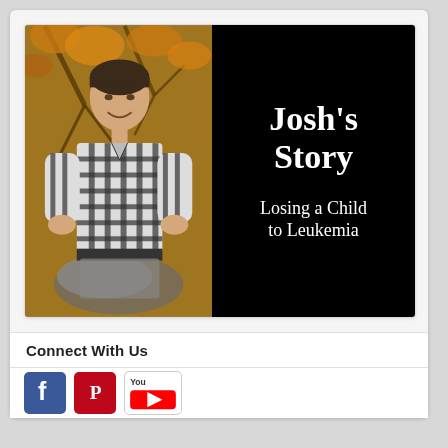[Figure (photo): Composite image: left half shows a young man in a plaid shirt sitting on a rock with autumn trees in background; right half is black background with white handwritten-style text reading Josh's Story / Losing a Child to Leukemia]
Connect With Us
[Figure (logo): Social media icons: Facebook (blue), Pinterest (red), YouTube (white with red/black logo)]
[Figure (other): Back to top button (grey arrow up)]